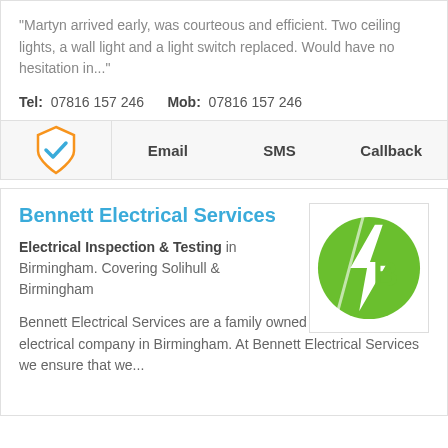"Martyn arrived early, was courteous and efficient. Two ceiling lights, a wall light and a light switch replaced. Would have no hesitation in..."
Tel: 07816 157 246    Mob: 07816 157 246
Email  SMS  Callback
Bennett Electrical Services
[Figure (logo): Bennett Electrical Services logo: green circle with white lightning bolt and letter B]
Electrical Inspection & Testing in Birmingham. Covering Solihull & Birmingham
Bennett Electrical Services are a family owned and operated electrical company in Birmingham. At Bennett Electrical Services we ensure that we...